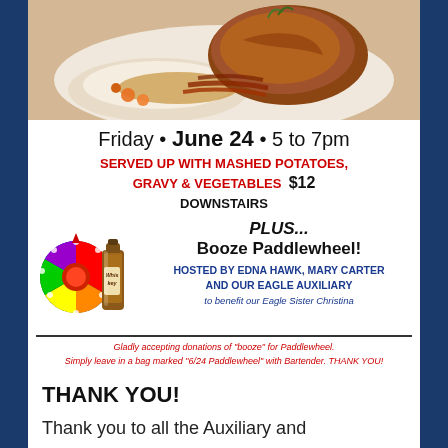[Figure (photo): Photo of a roast meat dish with mashed potatoes, gravy, and vegetables on a white plate]
Friday • June 24 • 5 to 7pm
SERVED UP WITH MASHED POTATOES, GRAVY & VEGETABLES $12
DOWNSTAIRS
[Figure (illustration): Colorful spinning prize wheel and a bottle of whiskey]
PLUS... Booze Paddlewheel! HOSTED BY EDNA HAWK, MARY CARTER AND OUR EAGLE AUXILIARY to benefit our Eagle Sister Christina
Gladly accepting donations of "booze" for Paddlewheel. Simply leave in a bag marked "6/24 Paddlewheel" with Bartender. THANK YOU!
THANK YOU!
Thank you to all the Auxiliary and